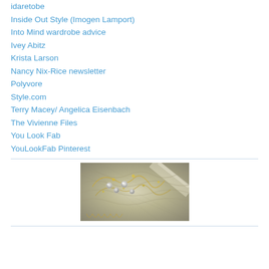idaretobe
Inside Out Style (Imogen Lamport)
Into Mind wardrobe advice
Ivey Abitz
Krista Larson
Nancy Nix-Rice newsletter
Polyvore
Style.com
Terry Macey/ Angelica Eisenbach
The Vivienne Files
You Look Fab
YouLookFab Pinterest
[Figure (photo): Close-up photo of ornate fabric with lace, pearls, sequins and embroidery details in gold and silver tones]